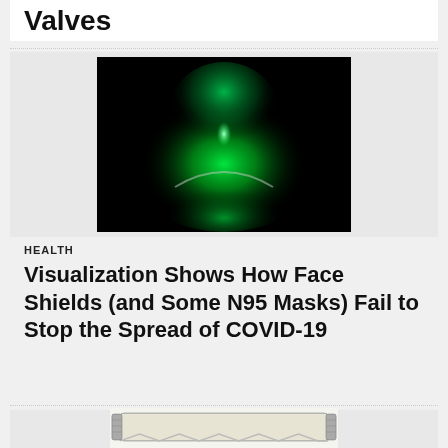Valves
[Figure (photo): Dark background photo showing green glowing light/smoke visualization, representing airflow or particle spread from a face covering.]
HEALTH
Visualization Shows How Face Shields (and Some N95 Masks) Fail to Stop the Spread of COVID-19
[Figure (photo): A white/beige structured neck brace or medical collar device with metallic hardware, shown against a white background. Partially cropped at bottom.]